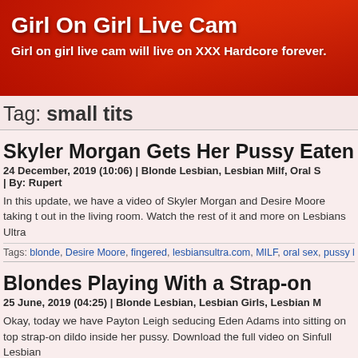Girl On Girl Live Cam
Girl on girl live cam will live on XXX Hardcore forever.
Tag: small tits
Skyler Morgan Gets Her Pussy Eaten Out
24 December, 2019 (10:06) | Blonde Lesbian, Lesbian Milf, Oral S | By: Rupert
In this update, we have a video of Skyler Morgan and Desire Moore taking t out in the living room. Watch the rest of it and more on Lesbians Ultra
Tags: blonde, Desire Moore, fingered, lesbiansultra.com, MILF, oral sex, pussy licki
Blondes Playing With a Strap-on
25 June, 2019 (04:25) | Blonde Lesbian, Lesbian Girls, Lesbian M
Okay, today we have Payton Leigh seducing Eden Adams into sitting on top strap-on dildo inside her pussy. Download the full video on Sinfull Lesbian